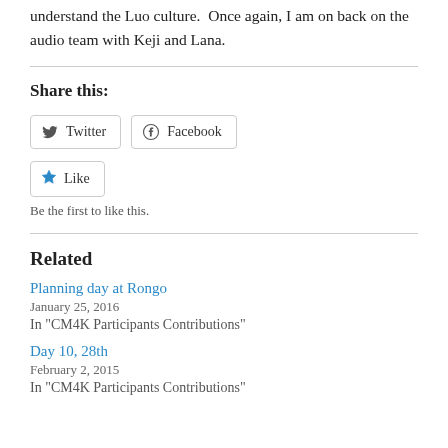understand the Luo culture.  Once again, I am on back on the audio team with Keji and Lana.
Share this:
[Figure (other): Twitter and Facebook share buttons]
[Figure (other): Like button with star icon and text: Be the first to like this.]
Related
Planning day at Rongo
January 25, 2016
In "CM4K Participants Contributions"
Day 10, 28th
February 2, 2015
In "CM4K Participants Contributions"